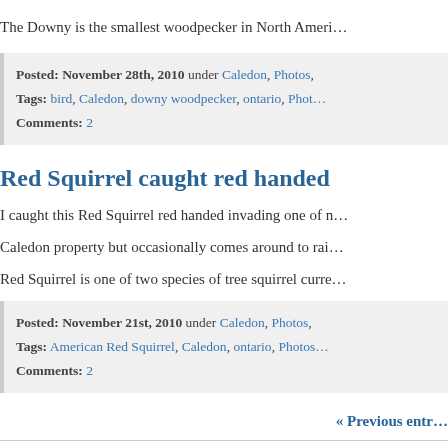The Downy is the smallest woodpecker in North Ameri…
Posted: November 28th, 2010 under Caledon, Photos,
Tags: bird, Caledon, downy woodpecker, ontario, Phot…
Comments: 2
Red Squirrel caught red handed
I caught this Red Squirrel red handed invading one of n… Caledon property but occasionally comes around to rai… Red Squirrel is one of two species of tree squirrel curre…
Posted: November 21st, 2010 under Caledon, Photos,
Tags: American Red Squirrel, Caledon, ontario, Photos…
Comments: 2
« Previous entr…
© 2022 Inside Caledon, Onta…
Powered by WordPress - Web…